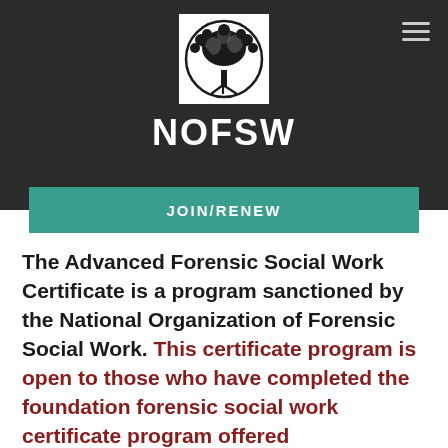NOFSW
[Figure (logo): NOFSW tree logo — black and white illustration of a tree with spreading branches and roots inside a circular border]
JOIN/RENEW
The Advanced Forensic Social Work Certificate is a program sanctioned by the National Organization of Forensic Social Work. This certificate program is open to those who have completed the foundation forensic social work certificate program offered